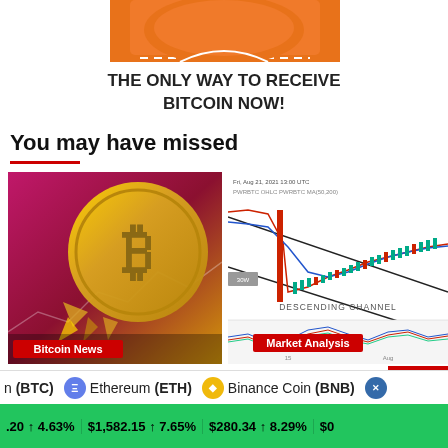[Figure (illustration): Orange cartoon character figure at the top of the page (partially visible, cropped)]
THE ONLY WAY TO RECEIVE BITCOIN NOW!
You may have missed
[Figure (illustration): Bitcoin gold coin on pink/magenta gradient background with shatter effect. Label: Bitcoin News]
[Figure (line-chart): Descending channel chart for cryptocurrency, showing candlestick data with red and blue trend lines and a descending channel pattern. Label: Market Analysis]
n (BTC)   Ethereum (ETH)   Binance Coin (BNB)
.20  ↑ 4.63%   $1,582.15  ↑ 7.65%   $280.34  ↑ 8.29%   $0